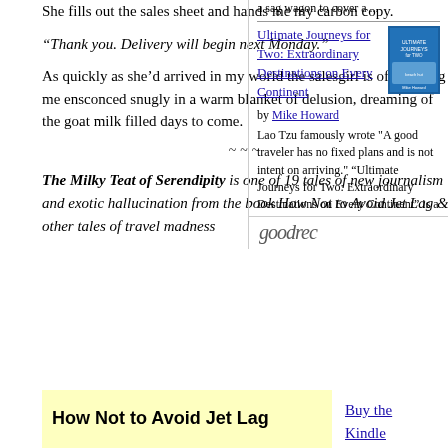She fills out the sales sheet and hands me my carbon copy.
“Thank you. Delivery will begin next Monday.”
As quickly as she’d arrived in my world the salesgirl is off, leaving me ensconced snugly in a warm blanket of delusion, dreaming of the goat milk filled days to come.
~~~
The Milky Teat of Serendipity is one of 19 tales of new journalism and exotic hallucination from the book How Not to Avoid Jet Lag & other tales of travel madness
[Figure (other): Book promotion box with yellow background showing 'How Not to Avoid Jet Lag' title in bold]
Buy the Kindle
a sag wagon to cover a ...
Ultimate Journeys for Two: Extraordinary Destinations on Every Continent
by Mike Howard
Lao Tzu famously wrote "A good traveler has no fixed plans and is not intent on arriving." “Ultimate Journeys for Two: Extraordinary Destinations on Every Continent” is a unique contribution to the travel genre, resembling more a Choo...
[Figure (logo): Goodreads logo at bottom of sidebar]